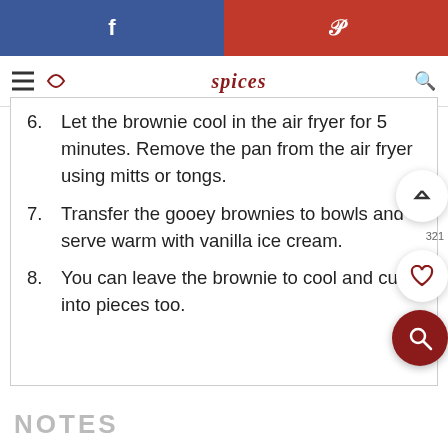f  p  spices
6. Let the brownie cool in the air fryer for 5 minutes. Remove the pan from the air fryer using mitts or tongs.
7. Transfer the gooey brownies to bowls and serve warm with vanilla ice cream.
8. You can leave the brownie to cool and cut it into pieces too.
NOTES